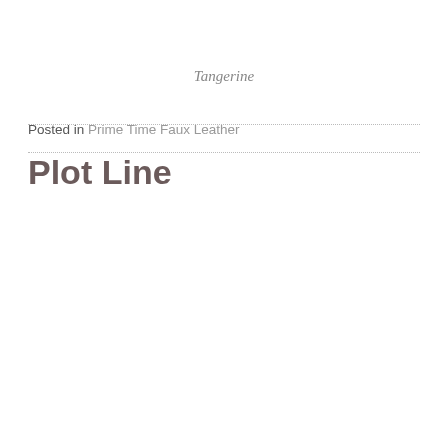Tangerine
Posted in Prime Time Faux Leather
Plot Line